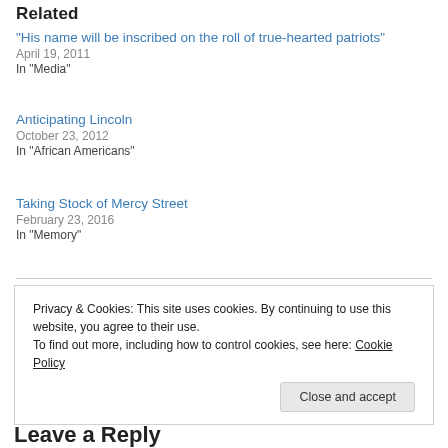Related
"His name will be inscribed on the roll of true-hearted patriots"
April 19, 2011
In "Media"
Anticipating Lincoln
October 23, 2012
In "African Americans"
Taking Stock of Mercy Street
February 23, 2016
In "Memory"
Privacy & Cookies: This site uses cookies. By continuing to use this website, you agree to their use.
To find out more, including how to control cookies, see here: Cookie Policy
Close and accept
Leave a Reply